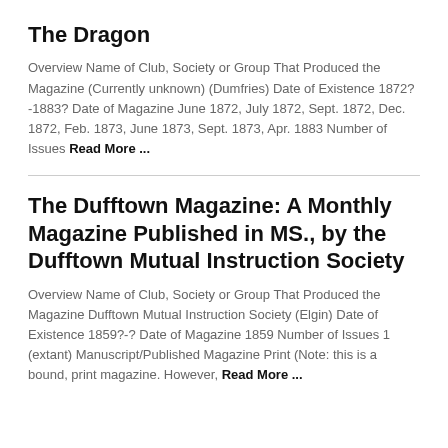The Dragon
Overview Name of Club, Society or Group That Produced the Magazine (Currently unknown) (Dumfries) Date of Existence 1872?-1883? Date of Magazine June 1872, July 1872, Sept. 1872, Dec. 1872, Feb. 1873, June 1873, Sept. 1873, Apr. 1883 Number of Issues Read More ...
The Dufftown Magazine: A Monthly Magazine Published in MS., by the Dufftown Mutual Instruction Society
Overview Name of Club, Society or Group That Produced the Magazine Dufftown Mutual Instruction Society (Elgin) Date of Existence 1859?-? Date of Magazine 1859 Number of Issues 1 (extant) Manuscript/Published Magazine Print (Note: this is a bound, print magazine. However, Read More ...